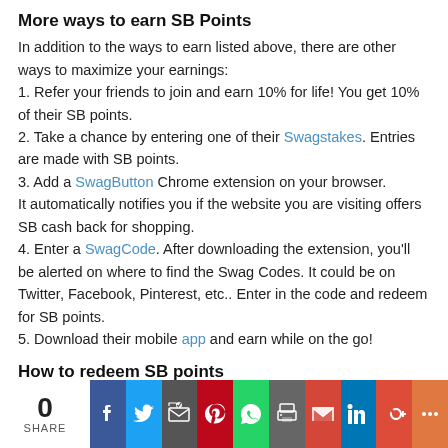More ways to earn SB Points
In addition to the ways to earn listed above, there are other ways to maximize your earnings:
1. Refer your friends to join and earn 10% for life! You get 10% of their SB points.
2. Take a chance by entering one of their Swagstakes. Entries are made with SB points.
3. Add a SwagButton Chrome extension on your browser. It automatically notifies you if the website you are visiting offers SB cash back for shopping.
4. Enter a SwagCode. After downloading the extension, you'll be alerted on where to find the Swag Codes. It could be on Twitter, Facebook, Pinterest, etc.. Enter in the code and redeem for SB points.
5. Download their mobile app and earn while on the go!
How to redeem SB points
Once you've collected enough SB points, the fun part is redeeming them! Here's how...